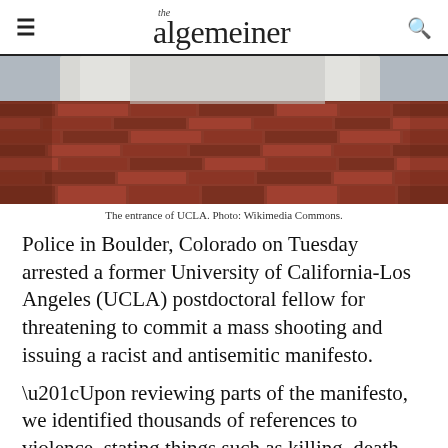the algemeiner
[Figure (photo): Brick exterior wall and entrance of UCLA building with white fabric/sheeting visible in upper portion]
The entrance of UCLA. Photo: Wikimedia Commons.
Police in Boulder, Colorado on Tuesday arrested a former University of California-Los Angeles (UCLA) postdoctoral fellow for threatening to commit a mass shooting and issuing a racist and antisemitic manifesto.
“Upon reviewing parts of the manifesto, we identified thousands of references to violence, stating things such as killing, death, murder, shootings, bombs, schoolyard massacre in Boulder,